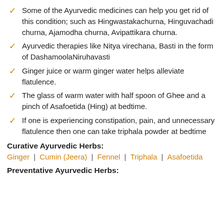Some of the Ayurvedic medicines can help you get rid of this condition; such as Hingwastakachurna, Hinguvachadi churna, Ajamodha churna, Avipattikara churna.
Ayurvedic therapies like Nitya virechana, Basti in the form of DashamoolaNiruhavasti
Ginger juice or warm ginger water helps alleviate flatulence.
The glass of warm water with half spoon of Ghee and a pinch of Asafoetida (Hing) at bedtime.
If one is experiencing constipation, pain, and unnecessary flatulence then one can take triphala powder at bedtime
Curative Ayurvedic Herbs:
Ginger | Cumin (Jeera) | Fennel | Triphala | Asafoetida
Preventative Ayurvedic Herbs: